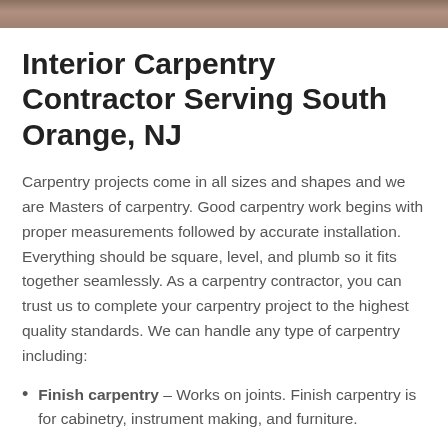[Figure (photo): Partial view of a carpentry/woodwork photo at the top of the page]
Interior Carpentry Contractor Serving South Orange, NJ
Carpentry projects come in all sizes and shapes and we are Masters of carpentry. Good carpentry work begins with proper measurements followed by accurate installation. Everything should be square, level, and plumb so it fits together seamlessly. As a carpentry contractor, you can trust us to complete your carpentry project to the highest quality standards. We can handle any type of carpentry including:
Finish carpentry – Works on joints. Finish carpentry is for cabinetry, instrument making, and furniture.